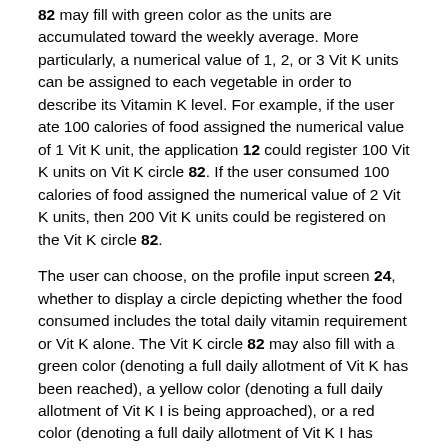82 may fill with green color as the units are accumulated toward the weekly average. More particularly, a numerical value of 1, 2, or 3 Vit K units can be assigned to each vegetable in order to describe its Vitamin K level. For example, if the user ate 100 calories of food assigned the numerical value of 1 Vit K unit, the application 12 could register 100 Vit K units on Vit K circle 82. If the user consumed 100 calories of food assigned the numerical value of 2 Vit K units, then 200 Vit K units could be registered on the Vit K circle 82.
The user can choose, on the profile input screen 24, whether to display a circle depicting whether the food consumed includes the total daily vitamin requirement or Vit K alone. The Vit K circle 82 may also fill with a green color (denoting a full daily allotment of Vit K has been reached), a yellow color (denoting a full daily allotment of Vit K I is being approached), or a red color (denoting a full daily allotment of Vit K I has been exceeded). In an embodiment, the Vit K circle 82 may alternately be displayed adjacent to the fluid and salt circles 26, 28 on FIG. 4 (not shown in FIG. 4).
Referring now to FIG. 13, as described above, the